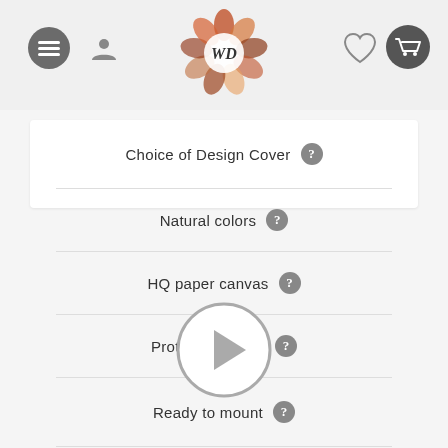[Figure (screenshot): E-commerce website header with hamburger menu, user icon, WD floral logo, heart icon, and shopping cart icon]
Choice of Design Cover
Natural colors
HQ paper canvas
Protective Glass
Ready to mount
[Figure (illustration): Video play button circle with triangle/play icon in grey]